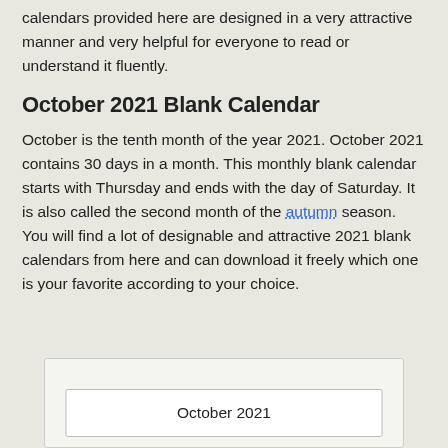calendars provided here are designed in a very attractive manner and very helpful for everyone to read or understand it fluently.
October 2021 Blank Calendar
October is the tenth month of the year 2021. October 2021 contains 30 days in a month. This monthly blank calendar starts with Thursday and ends with the day of Saturday. It is also called the second month of the autumn season. You will find a lot of designable and attractive 2021 blank calendars from here and can download it freely which one is your favorite according to your choice.
[Figure (other): Partial view of an October 2021 calendar with white background and border, showing the header 'October 2021']